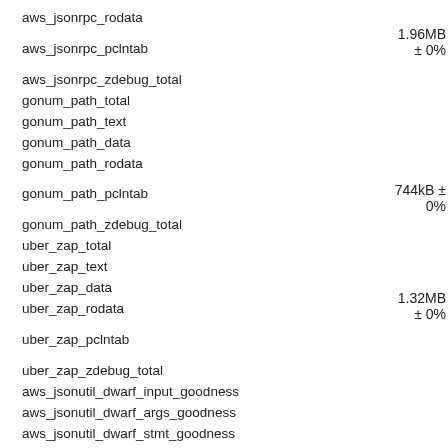aws_jsonrpc_rodata
aws_jsonrpc_pclntab
1.96MB ± 0%
aws_jsonrpc_zdebug_total
gonum_path_total
gonum_path_text
gonum_path_data
gonum_path_rodata
gonum_path_pclntab
744kB ± 0%
gonum_path_zdebug_total
uber_zap_total
uber_zap_text
uber_zap_data
uber_zap_rodata
uber_zap_pclntab
1.32MB ± 0%
uber_zap_zdebug_total
aws_jsonutil_dwarf_input_goodness
aws_jsonutil_dwarf_args_goodness
aws_jsonutil_dwarf_stmt_goodness
semver_dwarf_input_goodness
semver_dwarf_args_goodness